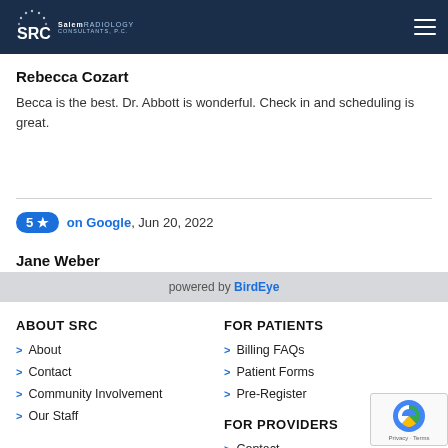SRC Salem Radiology Consultants, P.C.
Rebecca Cozart
Becca is the best. Dr. Abbott is wonderful. Check in and scheduling is great.
5 ★  on Google, Jun 20, 2022
Jane Weber
powered by BirdEye
ABOUT SRC
About
Contact
Community Involvement
Our Staff
FOR PATIENTS
Billing FAQs
Patient Forms
Pre-Register
FOR PROVIDERS
Contact